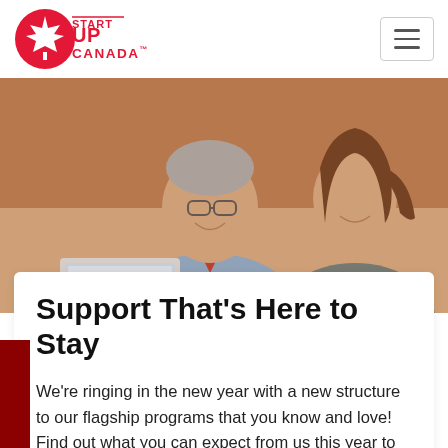[Figure (logo): Startup Canada logo: red circle with white maple leaf, red text reading START UP CANADA with trademark symbol]
[Figure (photo): Two people — an older man in a blue shirt and red tie wearing glasses, and a younger woman with her hair in a ponytail — smiling and looking at a laptop screen together in a warm indoor setting.]
Support That's Here to Stay
We're ringing in the new year with a new structure to our flagship programs that you know and love! Find out what you can expect from us this year to help you grow your business.